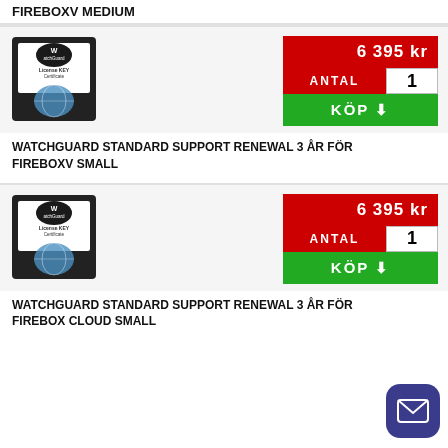FIREBOXV MEDIUM
[Figure (photo): WatchGuard License KEY Certificate product image]
6 395 kr
ANTAL 1
KÖP
WATCHGUARD STANDARD SUPPORT RENEWAL 3 ÅR FÖR FIREBOXV SMALL
[Figure (photo): WatchGuard License KEY Certificate product image]
6 395 kr
ANTAL 1
KÖP
WATCHGUARD STANDARD SUPPORT RENEWAL 3 ÅR FÖR FIREBOX CLOUD SMALL